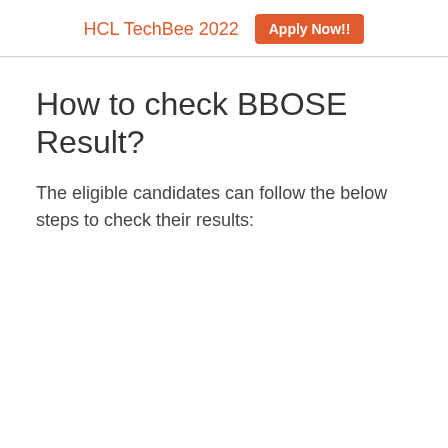HCL TechBee 2022  Apply Now!!
How to check BBOSE Result?
The eligible candidates can follow the below steps to check their results: